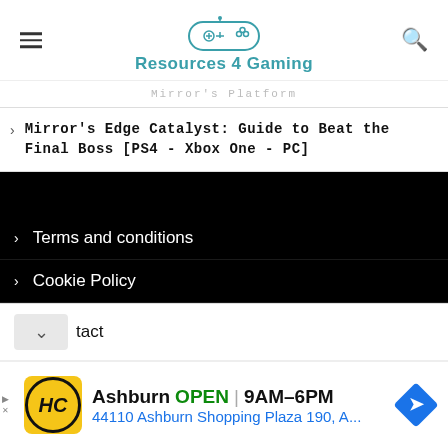Resources 4 Gaming
Mirror's Platform (partial/truncated text)
Mirror's Edge Catalyst: Guide to Beat the Final Boss [PS4 - Xbox One - PC]
Terms and conditions
Cookie Policy
tact
[Figure (infographic): Advertisement banner: HC logo (yellow circle with HC initials), Ashburn OPEN | 9AM-6PM, 44110 Ashburn Shopping Plaza 190, A... with navigation arrow icon]